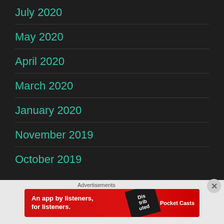July 2020
May 2020
April 2020
March 2020
January 2020
November 2019
October 2019
Advertisements
[Figure (other): Pocket Casts advertisement banner: 'An app by listeners, for listeners.' with a phone image and Pocket Casts logo on red background]